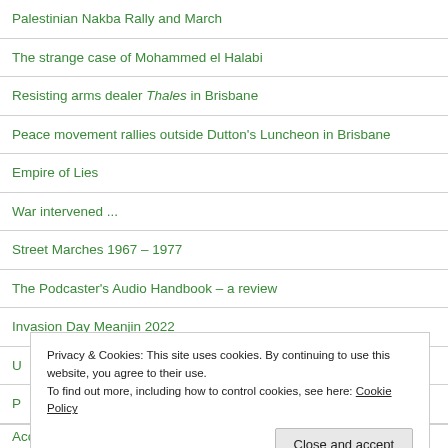Palestinian Nakba Rally and March
The strange case of Mohammed el Halabi
Resisting arms dealer Thales in Brisbane
Peace movement rallies outside Dutton's Luncheon in Brisbane
Empire of Lies
War intervened ...
Street Marches 1967 – 1977
The Podcaster's Audio Handbook – a review
Invasion Day Meanjin 2022
Privacy & Cookies: This site uses cookies. By continuing to use this website, you agree to their use.
To find out more, including how to control cookies, see here: Cookie Policy
Close and accept
Accor gets support from a strange quarter